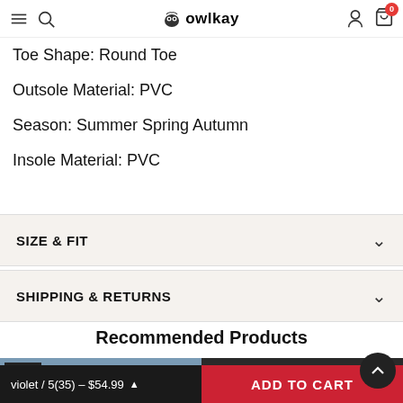owlkay
Closure Type: Hook & Loop
Toe Shape: Round Toe
Outsole Material: PVC
Season: Summer Spring Autumn
Insole Material: PVC
SIZE & FIT
SHIPPING & RETURNS
Recommended Products
[Figure (photo): Product thumbnail with SALE badge, left side]
[Figure (photo): Product thumbnail, right side (dark)]
violet / 5(35) - $54.99
ADD TO CART